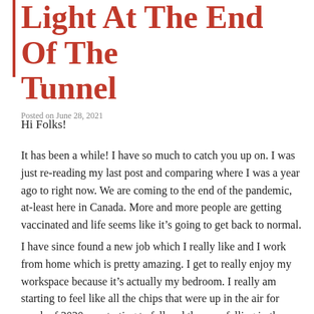Light At The End Of The Tunnel
Posted on June 28, 2021
Hi Folks!
It has been a while! I have so much to catch you up on. I was just re-reading my last post and comparing where I was a year ago to right now. We are coming to the end of the pandemic, at-least here in Canada. More and more people are getting vaccinated and life seems like it’s going to get back to normal.
I have since found a new job which I really like and I work from home which is pretty amazing. I get to really enjoy my workspace because it’s actually my bedroom. I really am starting to feel like all the chips that were up in the air for much of 2020 are starting to fall and they are falling in the right places.